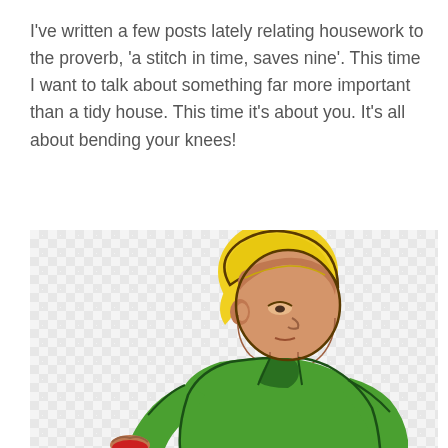I've written a few posts lately relating housework to the proverb, 'a stitch in time, saves nine'. This time I want to talk about something far more important than a tidy house. This time it's about you. It's all about bending your knees!
[Figure (illustration): Cartoon illustration of a blond boy in a green short-sleeve shirt leaning forward, looking down, on a checkerboard/transparent background.]